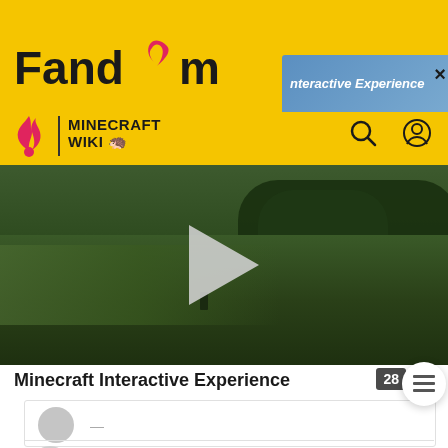Fandom — Minecraft Wiki
[Figure (screenshot): Fandom Minecraft Wiki navigation bar with yellow background, Fandom logo, flame icon, MINECRAFT WIKI label, search and user icons]
[Figure (screenshot): Popup overlay bar showing 'Interactive Experience' text with close X button on yellow header]
[Figure (screenshot): Minecraft video thumbnail showing green grassy landscape with play button triangle in center]
Minecraft Interactive Experience
28
2  Brewing